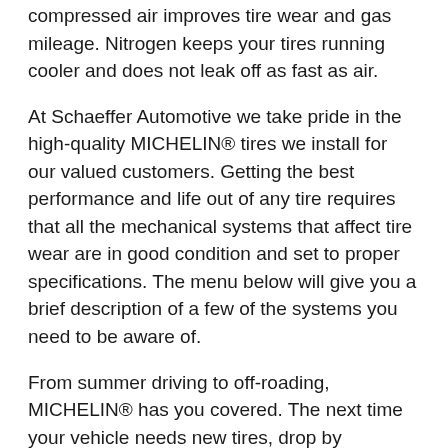compressed air improves tire wear and gas mileage. Nitrogen keeps your tires running cooler and does not leak off as fast as air.
At Schaeffer Automotive we take pride in the high-quality MICHELIN® tires we install for our valued customers. Getting the best performance and life out of any tire requires that all the mechanical systems that affect tire wear are in good condition and set to proper specifications. The menu below will give you a brief description of a few of the systems you need to be aware of.
From summer driving to off-roading, MICHELIN® has you covered. The next time your vehicle needs new tires, drop by Schaeffer Automotive and let one of our expert mechanics upgrade you to a set of new MICHELIN® tires. We're sure you'll recognize the difference that quality tires make.
[partial text cut off at bottom]